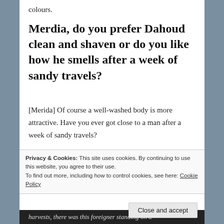colours.
Merdia, do you prefer Dahoud clean and shaven or do you like how he smells after a week of sandy travels?
[Merida] Of course a well-washed body is more attractive. Have you ever got close to a man after a week of sandy travels?
What did you think when you first laid eyes on him/her?
Privacy & Cookies: This site uses cookies. By continuing to use this website, you agree to their use.
To find out more, including how to control cookies, see here: Cookie Policy
harvests, there was this foreigner standing on a